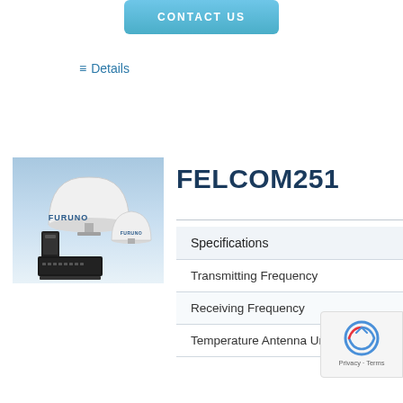CONTACT US
Details
[Figure (photo): Furuno satellite communication antenna units and equipment, including dome antennas and a transceiver/router unit, on a blue gradient background with Furuno branding]
FELCOM251
| Specifications |
| --- |
| Transmitting Frequency |
| Receiving Frequency |
| Temperature Antenna Unit |